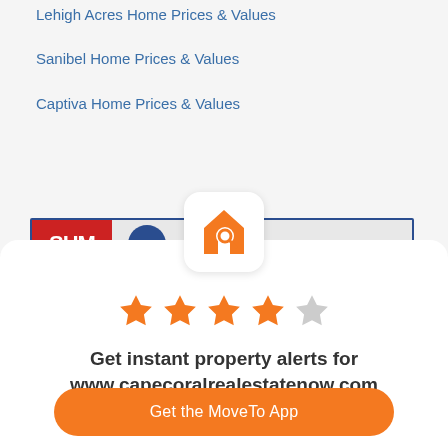Lehigh Acres Home Prices & Values
Sanibel Home Prices & Values
Captiva Home Prices & Values
[Figure (screenshot): App modal dialog showing a house-search icon, 4 out of 5 stars rating, prompt text 'Get instant property alerts for www.capecoralrealestatenow.com', an orange 'Get the MoveTo App' button, and a 'Not Now' link]
Get instant property alerts for www.capecoralrealestatenow.com
Get the MoveTo App
Not Now